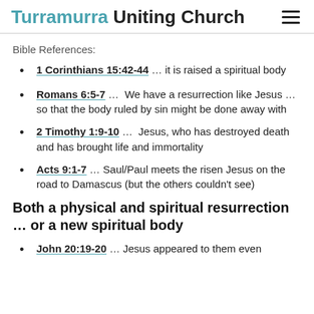Turramurra Uniting Church
Bible References:
1 Corinthians 15:42-44 … it is raised a spiritual body
Romans 6:5-7 …  We have a resurrection like Jesus … so that the body ruled by sin might be done away with
2 Timothy 1:9-10 …  Jesus, who has destroyed death and has brought life and immortality
Acts 9:1-7 … Saul/Paul meets the risen Jesus on the road to Damascus (but the others couldn't see)
Both a physical and spiritual resurrection … or a new spiritual body
John 20:19-20 … Jesus appeared to them even